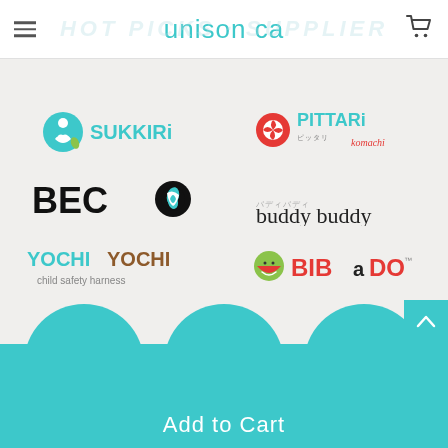unison ca
[Figure (logo): SUKKIRi brand logo with teal baby/leaf icon]
[Figure (logo): PITTARi brand logo with red pinwheel icon]
[Figure (logo): BECO brand logo in black with leaf symbol]
[Figure (logo): buddy buddy brand logo in grey/black text]
[Figure (logo): YOCHI YOCHI child safety harness logo in teal and brown]
[Figure (logo): BIBaDO brand logo in red/green with watermelon icon]
Add to Cart